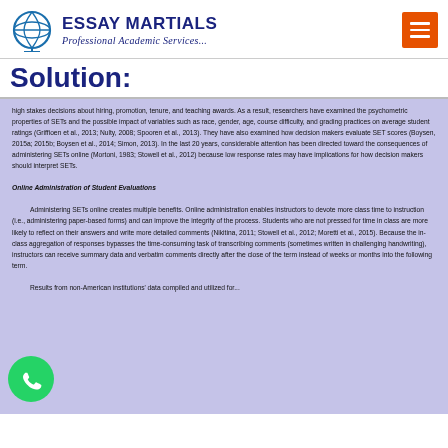ESSAY MARTIALS — Professional Academic Services...
Solution:
high stakes decisions about hiring, promotion, tenure, and teaching awards. As a result, researchers have examined the psychometric properties of SETs and the possible impact of variables such as race, gender, age, course difficulty, and grading practices on average student ratings (Griffioen et al., 2013; Nulty, 2008; Spooren et al., 2013). They have also examined how decision makers evaluate SET scores (Boysen, 2015a; 2015b; Boysen et al., 2014; Simon, 2013). In the last 20 years, considerable attention has been directed toward the consequences of administering SETs online (Mortoni, 1983; Stowell et al., 2012) because low response rates may have implications for how decision makers should interpret SETs.

Online Administration of Student Evaluations

Administering SETs online creates multiple benefits. Online administration enables instructors to devote more class time to instruction (i.e., administering paper-based forms) and can improve the integrity of the process. Students who are not pressed for time in class are more likely to reflect on their answers and write more detailed comments (Nikitina, 2011; Stowell et al., 2012; Moretti et al., 2015). Because the in-class aggregation of responses bypasses the time-consuming task of transcribing comments (sometimes written in challenging handwriting), instructors can receive summary data and verbatim comments directly after the close of the term instead of weeks or months into the following term.

Results from non-American institutions' data compiled and utilized for...